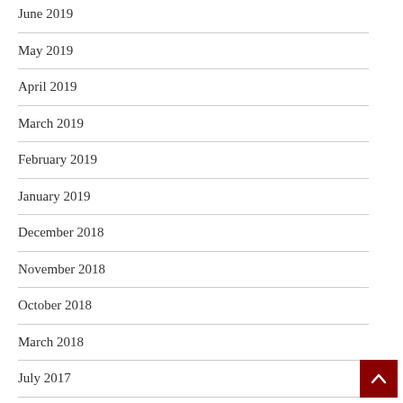June 2019
May 2019
April 2019
March 2019
February 2019
January 2019
December 2018
November 2018
October 2018
March 2018
July 2017
January 2016